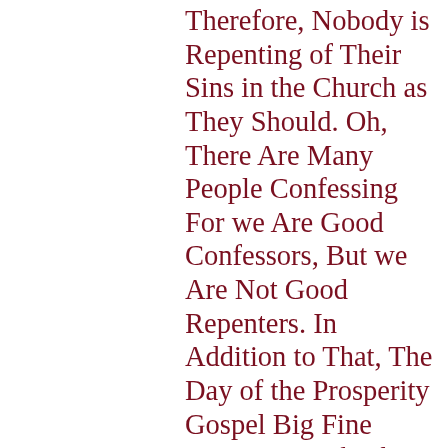Therefore, Nobody is Repenting of Their Sins in the Church as They Should. Oh, There Are Many People Confessing For we Are Good Confessors, But we Are Not Good Repenters. In Addition to That, The Day of the Prosperity Gospel Big Fine House on Pork Chop Hill is Over For Most People. Move Into a Tiny House, Pay For it in Full, Put Furniture in it That is Already Paid For, Get Rid of Your $700 Car Note and Buy You a Used Car That is Paid for in Full. As I Told